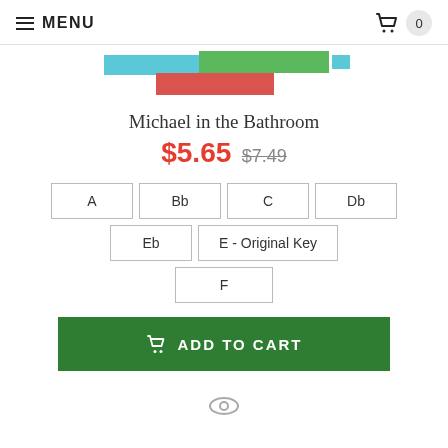MENU | 0
[Figure (illustration): Partial product image showing colored blocks (cyan, green, red) — top portion of sheet music product cover]
Michael in the Bathroom
$5.65  $7.49
A
Bb
C
Db
Eb
E - Original Key
F
ADD TO CART
[Figure (illustration): Eye / preview icon]